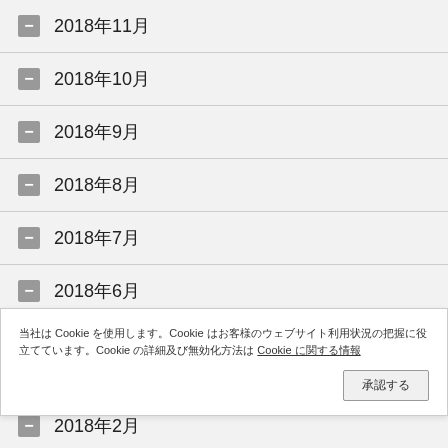2018年11月
2018年10月
2018年9月
2018年8月
2018年7月
2018年6月
2018年5月
2018年4月（partial）
当社はCookieを使用します。Cookieはお客様のウェブサイト利用状況の把握に役立てています。Cookieの詳細及び無効化方法はCookieに関する情報
2018年2月